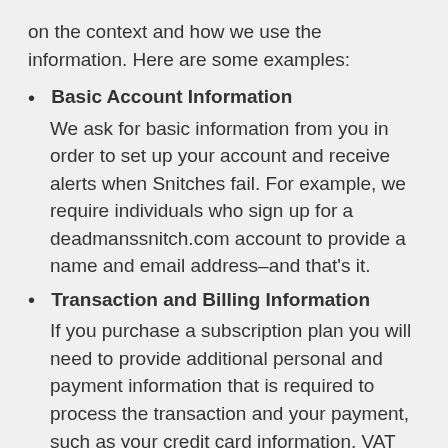on the context and how we use the information. Here are some examples:
Basic Account Information
We ask for basic information from you in order to set up your account and receive alerts when Snitches fail. For example, we require individuals who sign up for a deadmanssnitch.com account to provide a name and email address–and that's it.
Transaction and Billing Information
If you purchase a subscription plan you will need to provide additional personal and payment information that is required to process the transaction and your payment, such as your credit card information, VAT number, and contact information. All credit card information is transmitted directly to, and stored with, Stripe.com without touching our servers.
Communications With Us (Hi There!)
You may also provide us information when you